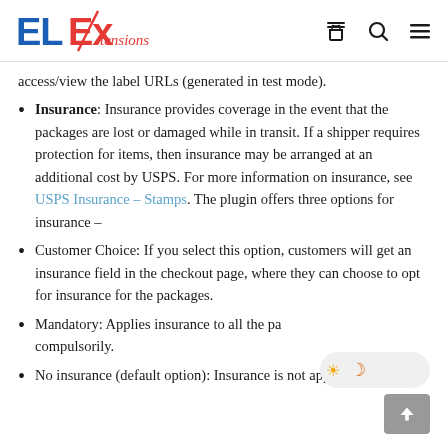ELExtensions [logo with navigation icons]
access/view the label URLs (generated in test mode).
Insurance: Insurance provides coverage in the event that the packages are lost or damaged while in transit. If a shipper requires protection for items, then insurance may be arranged at an additional cost by USPS. For more information on insurance, see USPS Insurance – Stamps. The plugin offers three options for insurance –
Customer Choice: If you select this option, customers will get an insurance field in the checkout page, where they can choose to opt for insurance for the packages.
Mandatory: Applies insurance to all the pa compulsorily.
No insurance (default option): Insurance is not applied to